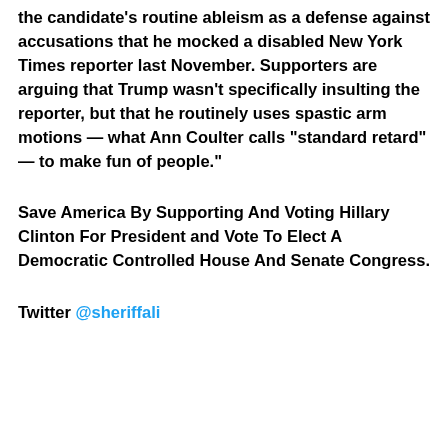the candidate's routine ableism as a defense against accusations that he mocked a disabled New York Times reporter last November. Supporters are arguing that Trump wasn't specifically insulting the reporter, but that he routinely uses spastic arm motions — what Ann Coulter calls "standard retard" — to make fun of people."
Save America By Supporting And Voting Hillary Clinton For President and Vote To Elect A Democratic Controlled House And Senate Congress.
Twitter @sheriffali